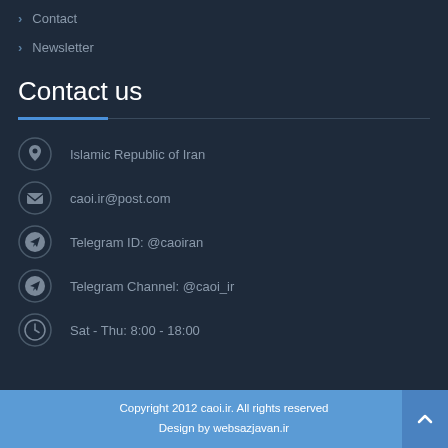Contact
Newsletter
Contact us
Islamic Republic of Iran
caoi.ir@post.com
Telegram ID:  @caoiran
Telegram Channel: @caoi_ir
Sat - Thu: 8:00 - 18:00
Copyright 2012 caoi.ir. All rights reserved
Design by websazjavan.ir